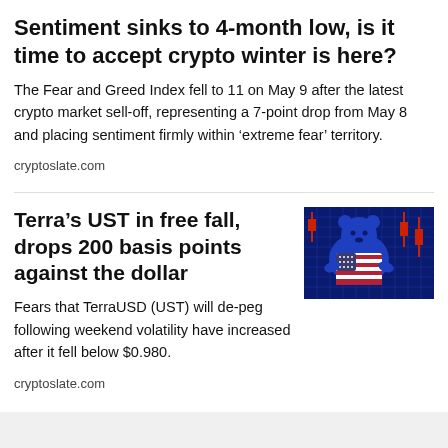Sentiment sinks to 4-month low, is it time to accept crypto winter is here?
The Fear and Greed Index fell to 11 on May 9 after the latest crypto market sell-off, representing a 7-point drop from May 8 and placing sentiment firmly within ‘extreme fear’ territory.
cryptoslate.com
Terra’s UST in free fall, drops 200 basis points against the dollar
[Figure (photo): A blue bear figure holding a US flag shield against a blue digital grid background, representing crypto market fears.]
Fears that TerraUSD (UST) will de-peg following weekend volatility have increased after it fell below $0.980.
cryptoslate.com